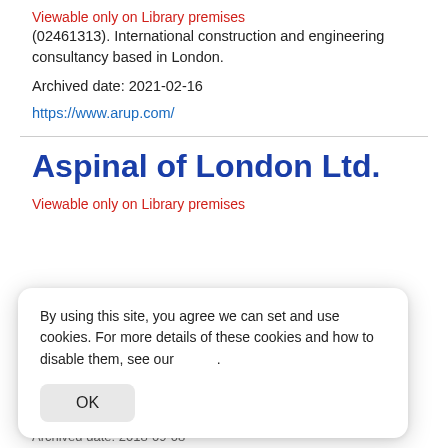Viewable only on Library premises
(02461313). International construction and engineering consultancy based in London.
Archived date: 2021-02-16
https://www.arup.com/
Aspinal of London Ltd.
Viewable only on Library premises
By using this site, you agree we can set and use cookies. For more details of these cookies and how to disable them, see our .
OK
Archived date: 2018-09-08